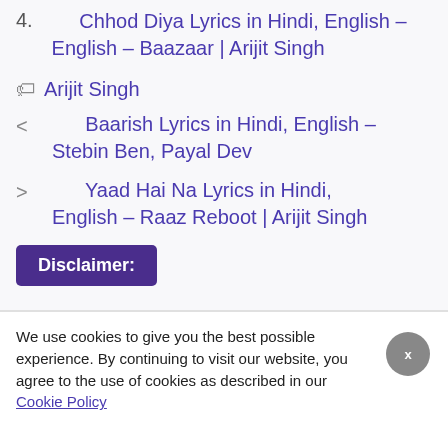4. Chhod Diya Lyrics in Hindi, English – Baazaar | Arijit Singh
🏷 Arijit Singh
< Baarish Lyrics in Hindi, English – Stebin Ben, Payal Dev
> Yaad Hai Na Lyrics in Hindi, English – Raaz Reboot | Arijit Singh
Disclaimer:
We use cookies to give you the best possible experience. By continuing to visit our website, you agree to the use of cookies as described in our Cookie Policy